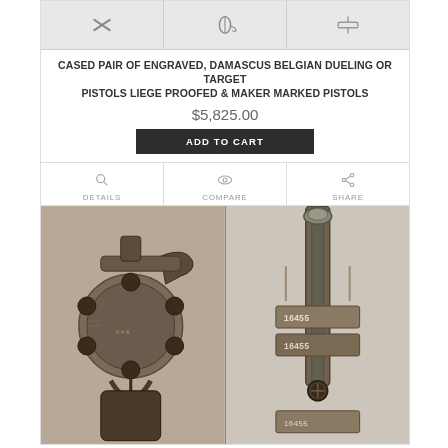[Figure (photo): Three cropped photos of engraved Belgian dueling pistol details at top of product card]
CASED PAIR OF ENGRAVED, DAMASCUS BELGIAN DUELING OR TARGET PISTOLS LIEGE PROOFED & MAKER MARKED PISTOLS
$5,825.00
ADD TO CART
DETAILS
COMPARE
SHARE
[Figure (photo): Two close-up photos of an antique revolver mechanism side by side: left shows cylinder and hammer, right shows barrel and serial numbers 16455]